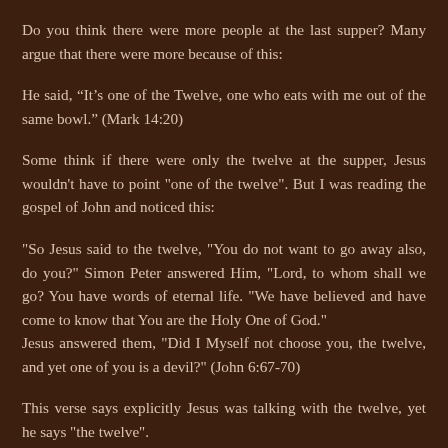Do you think there were more people at the last supper? Many argue that there were more because of this:
He said, “It’s one of the Twelve, one who eats with me out of the same bowl.” (Mark 14:20)
Some think if there were only the twelve at the supper, Jesus wouldn't have to point "one of the twelve". But I was reading the gospel of John and noticed this:
"So Jesus said to the twelve, "You do not want to go away also, do you?" Simon Peter answered Him, "Lord, to whom shall we go? You have words of eternal life. "We have believed and have come to know that You are the Holy One of God."
Jesus answered them, "Did I Myself not choose you, the twelve, and yet one of you is a devil?" (John 6:67-70)
This verse says explicitly Jesus was talking with the twelve, yet he says "the twelve".
I noticed also that when the twelve/eleven were with more people, scripture records it. But the records on the last supper